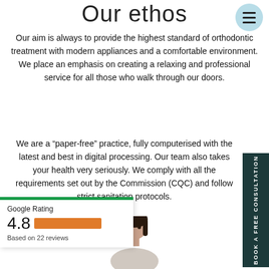Our ethos
Our aim is always to provide the highest standard of orthodontic treatment with modern appliances and a comfortable environment. We place an emphasis on creating a relaxing and professional service for all those who walk through our doors.
We are a “paper-free” practice, fully computerised with the latest and best in digital processing. Our team also takes your health very seriously. We comply with all the requirements set out by the Commission (CQC) and follow strict sanitation protocols.
[Figure (infographic): Google Rating widget showing 4.8 stars based on 22 reviews, with an orange rating bar and green top border]
[Figure (photo): Bottom portion of a person with dark hair, partially visible at the bottom center of the page]
[Figure (other): BOOK A FREE CONSULTATION vertical button on the right side, dark teal background]